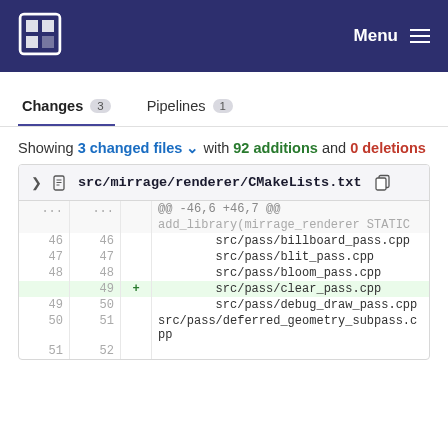Menu
Changes 3   Pipelines 1
Showing 3 changed files with 92 additions and 0 deletions
| old | new | marker | code |
| --- | --- | --- | --- |
| ... | ... |  | @@ -46,6 +46,7 @@ |
|  |  |  | add_library(mirrage_renderer STATIC |
| 46 | 46 |  |     src/pass/billboard_pass.cpp |
| 47 | 47 |  |     src/pass/blit_pass.cpp |
| 48 | 48 |  |     src/pass/bloom_pass.cpp |
|  | 49 | + |     src/pass/clear_pass.cpp |
| 49 | 50 |  |     src/pass/debug_draw_pass.cpp |
| 50 | 51 |  |     src/pass/deferred_geometry_subpass.cpp |
| 51 | 52 |  |  |